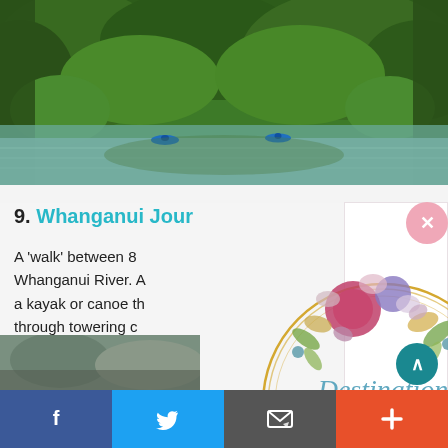[Figure (photo): River scene with kayakers paddling on a calm green river surrounded by dense lush forest and ferns]
9. Whanganui Jour…
A 'walk' between 8… Whanganui River. A… a kayak or canoe th… through towering c…
[Figure (logo): Destination Wedding Planner logo with floral decoration and gold circle, watercolor style]
[Figure (photo): Partial thumbnail image at bottom left]
Facebook | Twitter | Email | Plus social share buttons